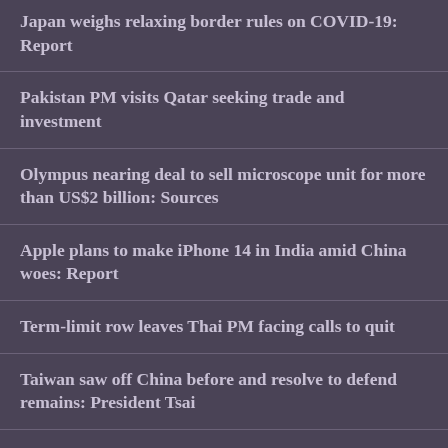Japan weighs relaxing border rules on COVID-19: Report
Pakistan PM visits Qatar seeking trade and investment
Olympus nearing deal to sell microscope unit for more than US$2 billion: Sources
Apple plans to make iPhone 14 in India amid China woes: Report
Term-limit row leaves Thai PM facing calls to quit
Taiwan saw off China before and resolve to defend remains: President Tsai